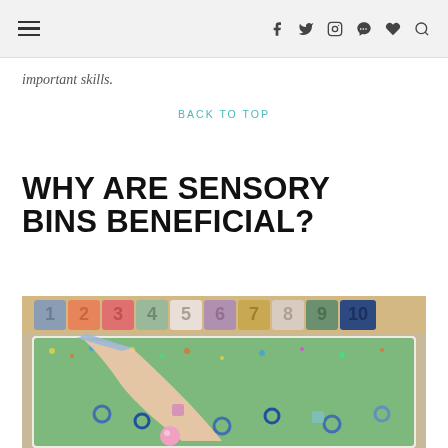≡ f t ◎ ℗ ♥ 🔍
important skills.
BACK TO TOP
WHY ARE SENSORY BINS BENEFICIAL?
[Figure (photo): Child reaching into a sensory bin filled with colorful rice/beads, with numbered wooden puzzle pieces (1-10) displayed above the bin on a wooden rack.]